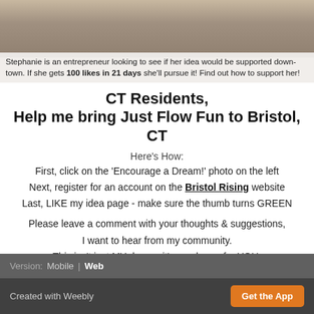[Figure (photo): Photo of people at an outdoor event, partially visible at the top of the page]
Stephanie is an entrepreneur looking to see if her idea would be supported downtown. If she gets 100 likes in 21 days she'll pursue it! Find out how to support her!
CT Residents,
Help me bring Just Flow Fun to Bristol, CT
Here's How:
First, click on the 'Encourage a Dream!' photo on the left
Next, register for an account on the Bristol Rising website
Last, LIKE my idea page - make sure the thumb turns GREEN
Please leave a comment with your thoughts & suggestions, I want to hear from my community. This isn't just MY dream, it's my dream for YOU. Let's make it happen together!
Version: Mobile | Web
Created with Weebly   Get the App